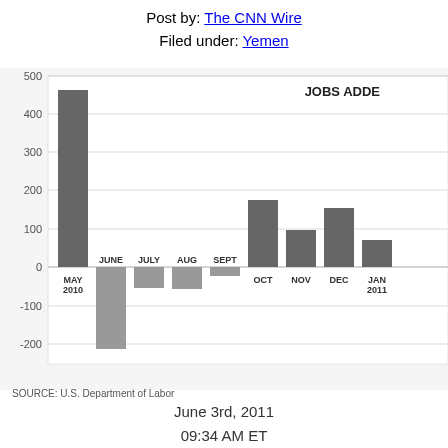Post by: The CNN Wire
Filed under: Yemen
[Figure (bar-chart): JOBS ADDED]
SOURCE: U.S. Department of Labor
June 3rd, 2011
09:34 AM ET
Share this on: